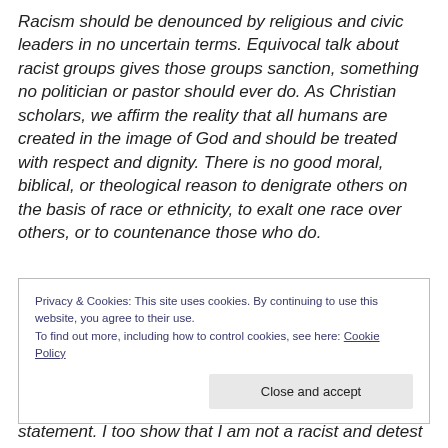Racism should be denounced by religious and civic leaders in no uncertain terms. Equivocal talk about racist groups gives those groups sanction, something no politician or pastor should ever do. As Christian scholars, we affirm the reality that all humans are created in the image of God and should be treated with respect and dignity. There is no good moral, biblical, or theological reason to denigrate others on the basis of race or ethnicity, to exalt one race over others, or to countenance those who do.
Privacy & Cookies: This site uses cookies. By continuing to use this website, you agree to their use. To find out more, including how to control cookies, see here: Cookie Policy
statement. I too show that I am not a racist and detest